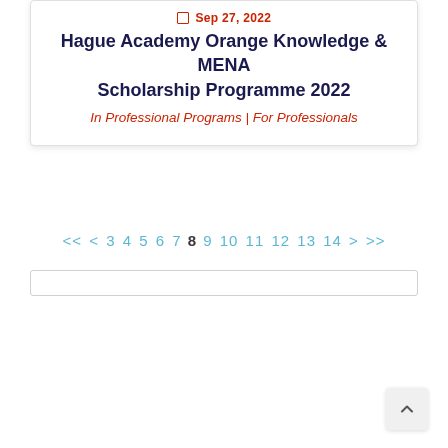Sep 27, 2022
Hague Academy Orange Knowledge & MENA Scholarship Programme 2022
In Professional Programs | For Professionals
<< < 3 4 5 6 7 8 9 10 11 12 13 14 > >>